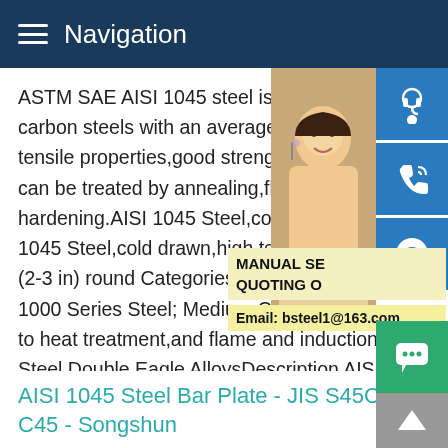Navigation
ASTM SAE AISI 1045 steel is one of the c carbon steels with an average carbon con tensile properties,good strength,toughness can be treated by annealing,flame treatme hardening.AISI 1045 Steel,cold drawn,hig 1045 Steel,cold drawn,high temperature s (2-3 in) round Categories Metal; Ferrous M 1000 Series Steel; Medium Carbon Steel. to heat treatment,and flame and induction Steel Double Eagle AlloysDescription AIS carbon steel containing approximately 0.45% carbon that can be hardened by heat treatment to a maximum surface hardness of approximately Rockwell C 54-60 after flame or induction harde
[Figure (photo): Woman with headset customer service representative photo]
[Figure (infographic): Blue icon buttons: headset/customer service, phone, Skype icons stacked vertically]
MANUAL SE QUOTING O
Email: bsteel1@163.com
AISI 1045 Steel Bar Plate - JIS S45C - DIN C45 - Songshun
[Figure (infographic): Green chat bubble button]
[Figure (infographic): Gray back to top arrow button]